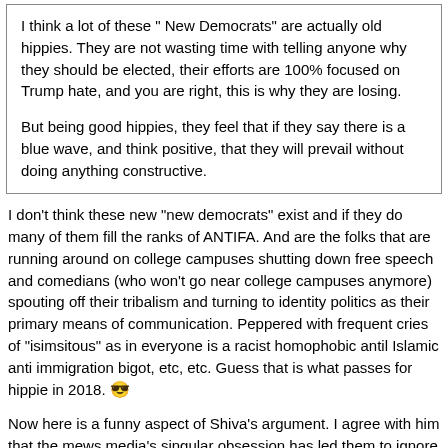I think a lot of these " New Democrats" are actually old hippies. They are not wasting time with telling anyone why they should be elected, their efforts are 100% focused on Trump hate, and you are right, this is why they are losing.

But being good hippies, they feel that if they say there is a blue wave, and think positive, that they will prevail without doing anything constructive.
I don't think these new "new democrats" exist and if they do many of them fill the ranks of ANTIFA. And are the folks that are running around on college campuses shutting down free speech and comedians (who won't go near college campuses anymore) spouting off their tribalism and turning to identity politics as their primary means of communication. Peppered with frequent cries of "isimsitous" as in everyone is a racist homophobic antil Islamic anti immigration bigot, etc, etc. Guess that is what passes for hippie in 2018. 😎
Now here is a funny aspect of Shiva's argument. I agree with him that the mews media's singular obsession has led them to ignore far more pressing and important news stories daily. In particular developments in the Mid East and Europe get almost no airplay or time. But the idea that the Scott Pruitt story has not or is not getting covered is unadulterated bunkum. In fact it gets a lot of coverage owing to how he is a Trump administration appointee, that guarantees you 24/7 blanket coverage.